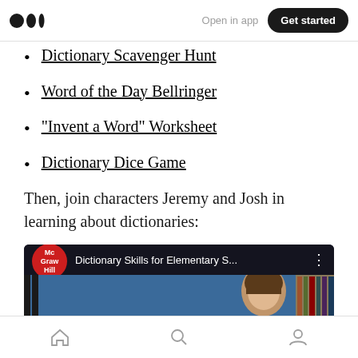Medium logo | Open in app | Get started
Dictionary Scavenger Hunt
Word of the Day Bellringer
“Invent a Word” Worksheet
Dictionary Dice Game
Then, join characters Jeremy and Josh in learning about dictionaries:
[Figure (screenshot): YouTube-style video thumbnail with McGraw Hill red logo badge and title 'Dictionary Skills for Elementary S...' with an animated scene below]
Home | Search | Profile navigation icons